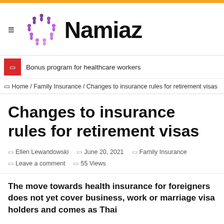[Figure (logo): Namiaz website logo with circular purple figures icon and bold black text 'Namiaz']
Bonus program for healthcare workers
⊞ Home / Family Insurance / Changes to insurance rules for retirement visas
Changes to insurance rules for retirement visas
Ellen Lewandowski  |  June 20, 2021  |  Family Insurance
Leave a comment  |  55 Views
The move towards health insurance for foreigners does not yet cover business, work or marriage visa holders and comes as Thai